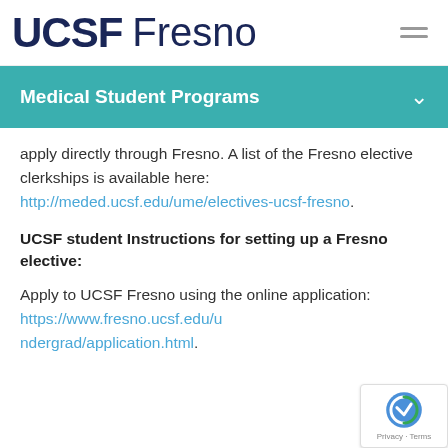[Figure (logo): UCSF Fresno logo with hamburger menu icon in top navigation bar]
Medical Student Programs
apply directly through Fresno. A list of the Fresno elective clerkships is available here: http://meded.ucsf.edu/ume/electives-ucsf-fresno.
UCSF student Instructions for setting up a Fresno elective:
Apply to UCSF Fresno using the online application: https://www.fresno.ucsf.edu/undergrad/application.html.